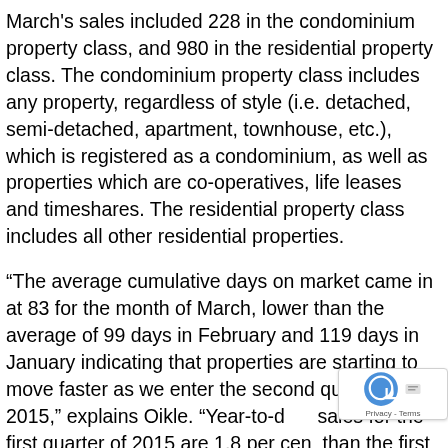March's sales included 228 in the condominium property class, and 980 in the residential property class. The condominium property class includes any property, regardless of style (i.e. detached, semi-detached, apartment, townhouse, etc.), which is registered as a condominium, as well as properties which are co-operatives, life leases and timeshares. The residential property class includes all other residential properties.
“The average cumulative days on market came in at 83 for the month of March, lower than the average of 99 days in February and 119 days in January indicating that properties are starting to move faster as we enter the second quarter of 2015,” explains Oikle. “Year-to-date sales for the first quarter of 2015 are 1.8 per cent than the first quarter of 2014. Average sales price has